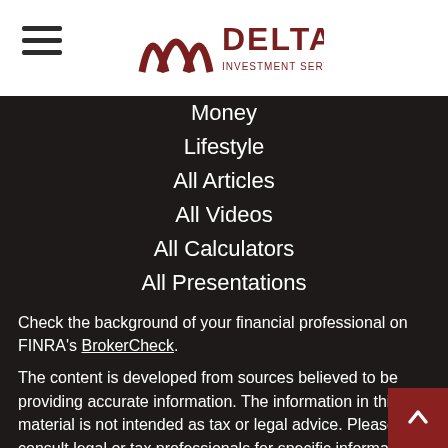Delta Investment Services, Inc.
Money
Lifestyle
All Articles
All Videos
All Calculators
All Presentations
Check the background of your financial professional on FINRA's BrokerCheck.
The content is developed from sources believed to be providing accurate information. The information in this material is not intended as tax or legal advice. Please consult legal or tax professionals for specific information regarding your individual situation. Some of this material was developed and